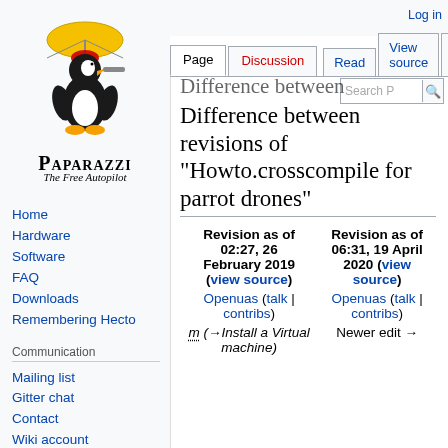[Figure (logo): Paparazzi autopilot logo: penguin with umbrella and telescope, with text 'PAPARAZZI The Free Autopilot']
Home
Hardware
Software
FAQ
Downloads
Remembering Hecto
Communication
Mailing list
Gitter chat
Contact
Wiki account
Development
Log in
Difference between revisions of "Howto.crosscompile for parrot drones"
| Revision as of 02:27, 26 February 2019 (view source) | Revision as of 06:31, 19 April 2020 (view source) |
| --- | --- |
| Openuas (talk | contribs) | Openuas (talk | contribs) |
| m (→Install a Virtual machine) | Newer edit → |